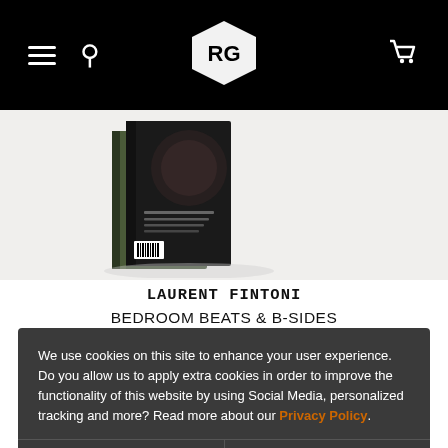Navigation bar with hamburger menu, search icon, logo, and cart icon
[Figure (photo): Book cover image for Bedroom Beats & B-Sides by Laurent Fintoni, showing illustrated book in 3D perspective on white background]
LAURENT FINTONI
BEDROOM BEATS & B-SIDES
We use cookies on this site to enhance your user experience. Do you allow us to apply extra cookies in order to improve the functionality of this website by using Social Media, personalized tracking and more? Read more about our Privacy Policy.
Yes
No